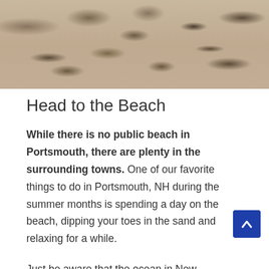[Figure (photo): Close-up photograph of sandy beach with dark footprints and scattered dark marks/debris in the sand]
Head to the Beach
While there is no public beach in Portsmouth, there are plenty in the surrounding towns. One of our favorite things to do in Portsmouth, NH during the summer months is spending a day on the beach, dipping your toes in the sand and relaxing for a while.
Just be aware that the ocean in New Hampshire doesn't really begin to warm up until August or early September. Even though it's very warm outside in July and even June, it's most likely too cold to swim. You can try, but